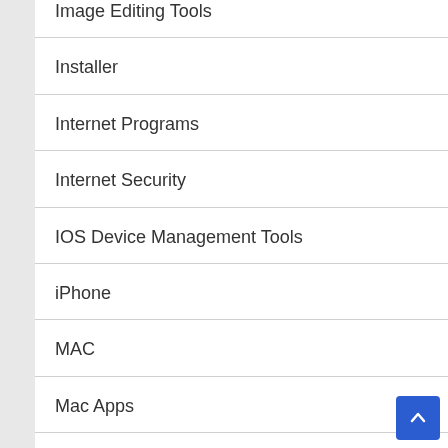Image Editing Tools
Installer
Internet Programs
Internet Security
IOS Device Management Tools
iPhone
MAC
Mac Apps
Mac Software